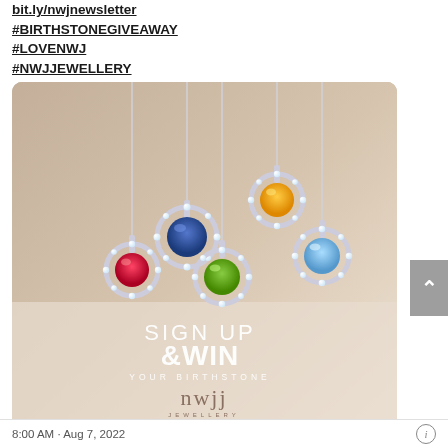bit.ly/nwjnewsletter
#BIRTHSTONEGIVEAWAY
#LOVENWJ
#NWJJEWELLERY
[Figure (photo): NWJ Jewellery promotional image showing multiple diamond-halo pendant necklaces with coloured gemstones (blue sapphire, amber/citrine, red ruby, green peridot, light blue aquamarine) on silver chains against a warm beige background. Text overlay reads 'SIGN UP & WIN YOUR BIRTHSTONE' with the NWJ Jewellery logo at the bottom.]
8:00 AM · Aug 7, 2022